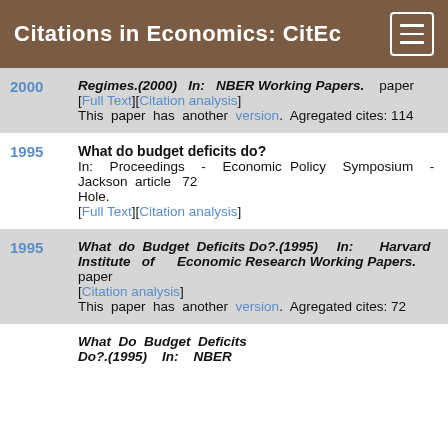Citations in Economics: CitEc
Regimes.(2000) In: NBER Working Papers. paper [Full Text][Citation analysis] This paper has another version. Agregated cites: 114
What do budget deficits do? In: Proceedings - Economic Policy Symposium - Jackson Hole. article 72 [Full Text][Citation analysis]
What do Budget Deficits Do?.(1995) In: Harvard Institute of Economic Research Working Papers. paper [Citation analysis] This paper has another version. Agregated cites: 72
What Do Budget Deficits Do?.(1995) In: NBER